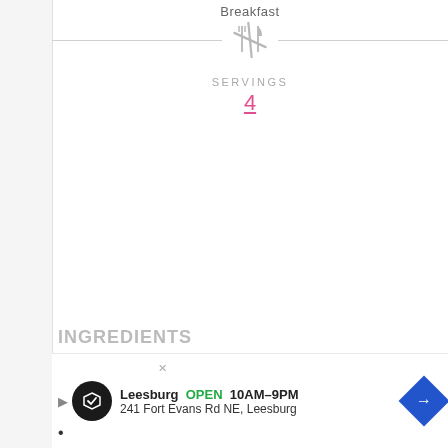Breakfast
[Figure (illustration): Crossed fork and knife utensil icon in gray, used as a section divider]
SERVINGS
4
INGREDIENTS
[Figure (screenshot): Advertisement banner: Leesburg OPEN 10AM-9PM, 241 Fort Evans Rd NE, Leesburg with logo and direction icon]